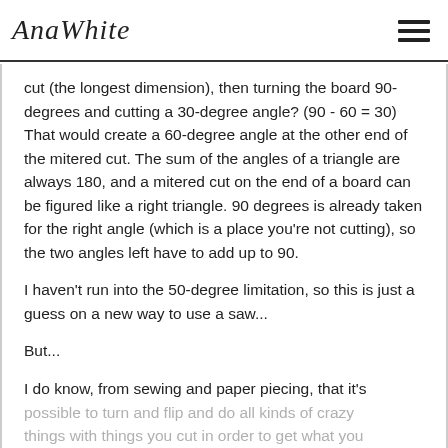AnaWhite
cut (the longest dimension), then turning the board 90-degrees and cutting a 30-degree angle? (90 - 60 = 30) That would create a 60-degree angle at the other end of the mitered cut. The sum of the angles of a triangle are always 180, and a mitered cut on the end of a board can be figured like a right triangle. 90 degrees is already taken for the right angle (which is a place you're not cutting), so the two angles left have to add up to 90.
I haven't run into the 50-degree limitation, so this is just a guess on a new way to use a saw...
But...
I do know, from sewing and paper piecing, that it's possible to turn and flip and do all kinds of crazy things with things you cut in order to get what you